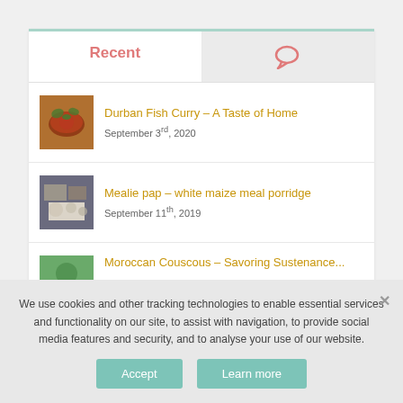Recent
Durban Fish Curry – A Taste of Home
September 3rd, 2020
Mealie pap – white maize meal porridge
September 11th, 2019
We use cookies and other tracking technologies to enable essential services and functionality on our site, to assist with navigation, to provide social media features and security, and to analyse your use of our website.